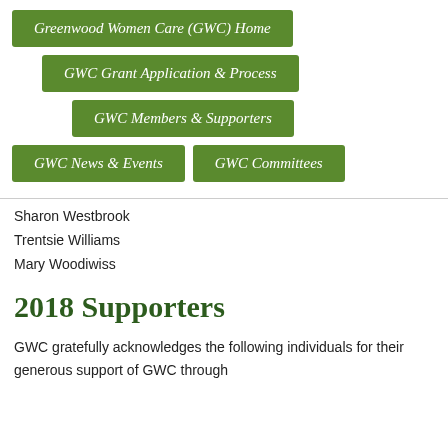[Figure (other): Navigation menu with green buttons: Greenwood Women Care (GWC) Home, GWC Grant Application & Process, GWC Members & Supporters, GWC News & Events, GWC Committees]
Sharon Westbrook
Trentsie Williams
Mary Woodiwiss
2018 Supporters
GWC gratefully acknowledges the following individuals for their generous support of GWC through